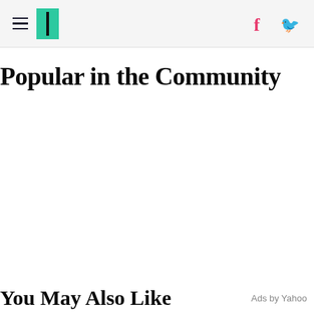HuffPost navigation header with hamburger menu, logo, Facebook and Twitter icons
Popular in the Community
You May Also Like
Ads by Yahoo